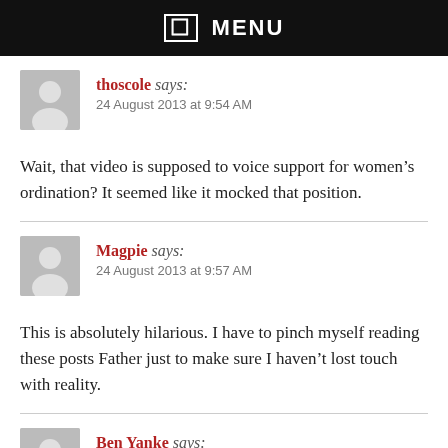☰ MENU
thoscole says:
24 August 2013 at 9:54 AM
Wait, that video is supposed to voice support for women's ordination? It seemed like it mocked that position.
Magpie says:
24 August 2013 at 9:57 AM
This is absolutely hilarious. I have to pinch myself reading these posts Father just to make sure I haven't lost touch with reality.
Ben Yanke says:
24 August 2013 at 9:57 AM